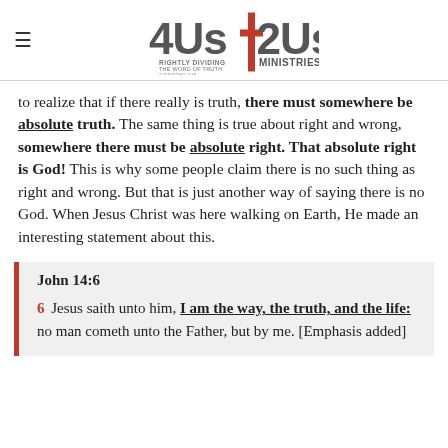4Us|2Us Rightly Dividing the Word of Truth 2 Timothy 2:15 Ministries
to realize that if there really is truth, there must somewhere be absolute truth. The same thing is true about right and wrong, somewhere there must be absolute right. That absolute right is God! This is why some people claim there is no such thing as right and wrong. But that is just another way of saying there is no God. When Jesus Christ was here walking on Earth, He made an interesting statement about this.
John 14:6
6 Jesus saith unto him, I am the way, the truth, and the life: no man cometh unto the Father, but by me. [Emphasis added]